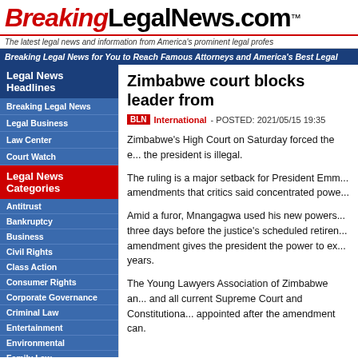BreakingLegalNews.com™
The latest legal news and information from America's prominent legal profes...
Breaking Legal News for You to Reach Famous Attorneys and America's Best Legal...
Legal News Headlines
Breaking Legal News
Legal Business
Law Center
Court Watch
Legal News Categories
Antitrust
Bankruptcy
Business
Civil Rights
Class Action
Consumer Rights
Corporate Governance
Criminal Law
Entertainment
Environmental
Family Law
Health Care
Human Rights
Zimbabwe court blocks leader from...
BLN International - POSTED: 2021/05/15 19:35
Zimbabwe's High Court on Saturday forced the e... the president is illegal.
The ruling is a major setback for President Emm... amendments that critics said concentrated powe...
Amid a furor, Mnangagwa used his new powers... three days before the justice's scheduled retiren... amendment gives the president the power to ex... years.
The Young Lawyers Association of Zimbabwe an... and all current Supreme Court and Constitutiona... appointed after the amendment can.